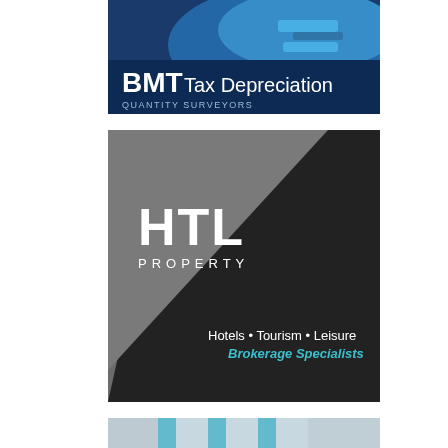[Figure (advertisement): BMT Tax Depreciation advertisement banner showing a resort pool with blue sun loungers. Dark blue background with large white text 'BMT Tax Depreciation' and smaller text 'QUANTITY SURVEYORS'. A green accent bar at the top.]
[Figure (advertisement): HTL Property advertisement. Dark grey and black diagonal split background. White bold text 'HTL PROPERTY' logo on the left upper area. White text 'Hotels • Tourism • Leisure' and cyan/teal italic text 'Brokerage Specialists' in the lower right.]
[Figure (advertisement): Partial bottom advertisement showing interior of a hotel room with teal/cyan decorative panels and curtains.]